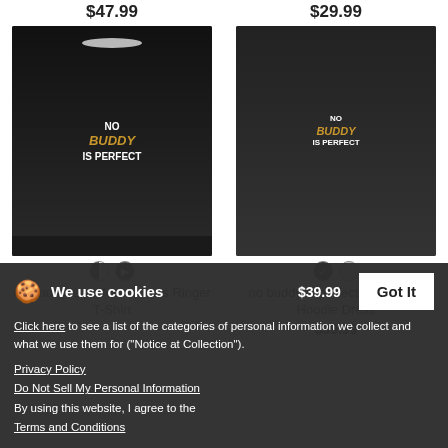$47.99
[Figure (photo): Man wearing black ringer t-shirt with 'No buddy is perfect' text design]
$29.99
[Figure (photo): Woman wearing dark hoodie dress with 'No buddy is perfect' text design]
no buddy is perfect - Men's Ringer T-Shirt
no buddy is perfect - Women's Hoodie Dress
$39.99
We use cookies
Click here to see a list of the categories of personal information we collect and what we use them for ("Notice at Collection").
Privacy Policy
Do Not Sell My Personal Information
By using this website, I agree to the Terms and Conditions
Got It